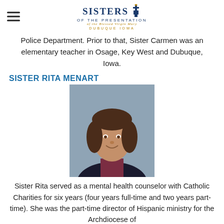Sisters of the Presentation of the Blessed Virgin Mary — Dubuque, Iowa
Police Department. Prior to that, Sister Carmen was an elementary teacher in Osage, Key West and Dubuque, Iowa.
SISTER RITA MENART
[Figure (photo): Portrait photo of Sister Rita Menart, a woman with short dark hair, smiling, wearing a dark blazer and burgundy shirt, against a blue-grey background.]
Sister Rita served as a mental health counselor with Catholic Charities for six years (four years full-time and two years part-time). She was the part-time director of Hispanic ministry for the Archdiocese of